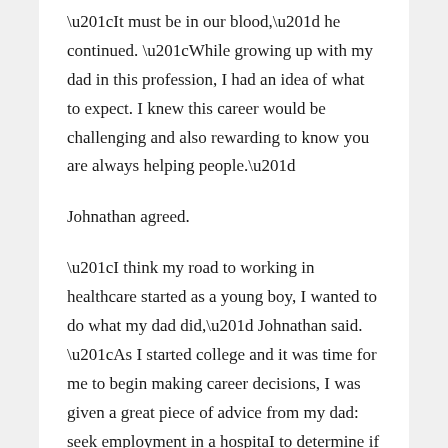“It must be in our blood,” he continued. “While growing up with my dad in this profession, I had an idea of what to expect. I knew this career would be challenging and also rewarding to know you are always helping people.”
Johnathan agreed.
“I think my road to working in healthcare started as a young boy, I wanted to do what my dad did,” Johnathan said. “As I started college and it was time for me to begin making career decisions, I was given a great piece of advice from my dad: seek employment in a hospital to determine if this area of health care is something you would enjoy. I began my career as an orderly and the rest is history. ”